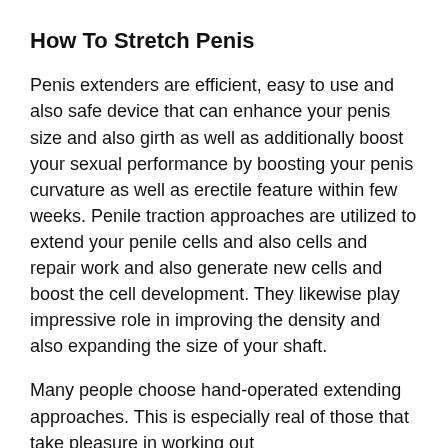How To Stretch Penis
Penis extenders are efficient, easy to use and also safe device that can enhance your penis size and also girth as well as additionally boost your sexual performance by boosting your penis curvature as well as erectile feature within few weeks. Penile traction approaches are utilized to extend your penile cells and also cells and repair work and also generate new cells and boost the cell development. They likewise play impressive role in improving the density and also expanding the size of your shaft.
Many people choose hand-operated extending approaches. This is especially real of those that take pleasure in working out